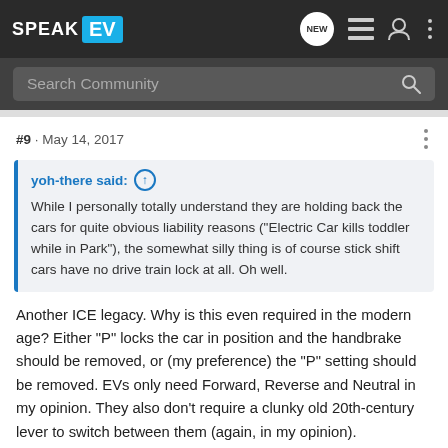SPEAK EV — Navigation bar with logo and icons
Search Community
#9 · May 14, 2017
yoh-there said: ↑ While I personally totally understand they are holding back the cars for quite obvious liability reasons ("Electric Car kills toddler while in Park"), the somewhat silly thing is of course stick shift cars have no drive train lock at all. Oh well.
Another ICE legacy. Why is this even required in the modern age? Either "P" locks the car in position and the handbrake should be removed, or (my preference) the "P" setting should be removed. EVs only need Forward, Reverse and Neutral in my opinion. They also don't require a clunky old 20th-century lever to switch between them (again, in my opinion).